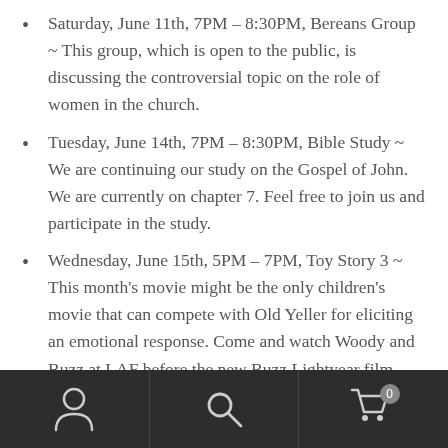Saturday, June 11th, 7PM – 8:30PM, Bereans Group ~ This group, which is open to the public, is discussing the controversial topic on the role of women in the church.
Tuesday, June 14th, 7PM – 8:30PM, Bible Study ~ We are continuing our study on the Gospel of John. We are currently on chapter 7. Feel free to join us and participate in the study.
Wednesday, June 15th, 5PM – 7PM, Toy Story 3 ~ This month's movie might be the only children's movie that can compete with Old Yeller for eliciting an emotional response. Come and watch Woody and Buzz at LAF before the new Buzz Lightyear film comes out in theaters.
Navigation bar with person, search, and cart (0) icons